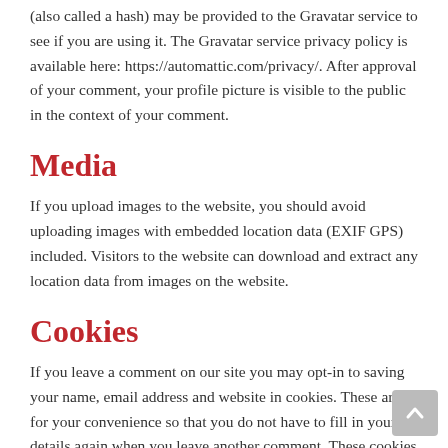(also called a hash) may be provided to the Gravatar service to see if you are using it. The Gravatar service privacy policy is available here: https://automattic.com/privacy/. After approval of your comment, your profile picture is visible to the public in the context of your comment.
Media
If you upload images to the website, you should avoid uploading images with embedded location data (EXIF GPS) included. Visitors to the website can download and extract any location data from images on the website.
Cookies
If you leave a comment on our site you may opt-in to saving your name, email address and website in cookies. These are for your convenience so that you do not have to fill in your details again when you leave another comment. These cookies will last for one year